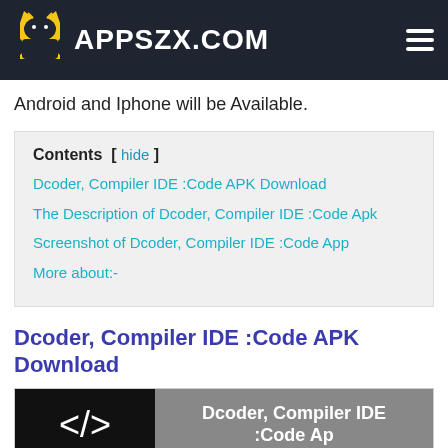APPSZX.COM
Android and Iphone will be Available.
| Contents |
| --- |
| Dcoder, Compiler IDE :Code APK Download |
| The Description of Dcoder, Compiler IDE :Code Apk |
| Screenshot of Dcoder, Compiler IDE :Code App |
| More about:- |
Dcoder, Compiler IDE :Code APK Download
[Figure (screenshot): App preview image showing Dcoder, Compiler IDE :Code app icon and title on dark/gray background]